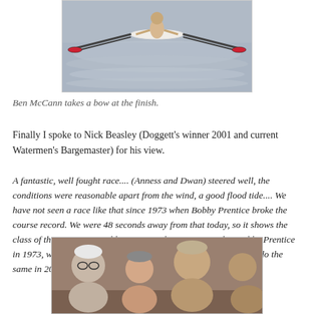[Figure (photo): Aerial/top-down photo of a rower in a single scull on water, taken at the finish of a race. The boat and oars are visible from above, with water in the background.]
Ben McCann takes a bow at the finish.
Finally I spoke to Nick Beasley (Doggett's winner 2001 and current Watermen's Bargemaster) for his view.
A fantastic, well fought race.... (Anness and Dwan) steered well, the conditions were reasonable apart from the wind, a good flood tide.... We have not seen a race like that since 1973 when Bobby Prentice broke the course record. We were 48 seconds away from that today, so it shows the class of the 2011 race. Bobby Lupton, who came second to Bobby Prentice in 1973, went onto win it in 1974 and I think Merlin (Dwan) will do the same in 2012.
[Figure (photo): Group photo showing people at what appears to be a social gathering or prize-giving event after a rowing race.]